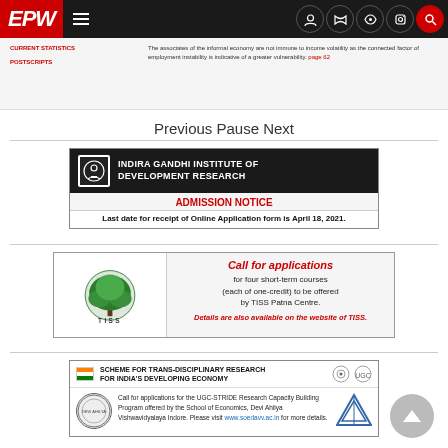EPW
[Figure (screenshot): Teaser strip showing current statistics and postscript links with article text about informal economy and employment instability.]
Previous Pause Next
[Figure (infographic): Indira Gandhi Institute of Development Research - ADMISSION NOTICE. Last date for receipt of Online Application form is April 18, 2021.]
[Figure (infographic): TISS Call for applications for four short-term courses (each of one-credit) to be offered by TISS Patna Centre. Details are also available on the website of TISS.]
[Figure (infographic): Scheme for Trans-Disciplinary Research for India's Developing Economy. Call for applications for the UGC-STRIDE Research Capacity Building Program offered by the School of Economics, Devi Ahilya Vishwavidyalaya Indore. Please visit www.soedavv.ac.in for more details.]